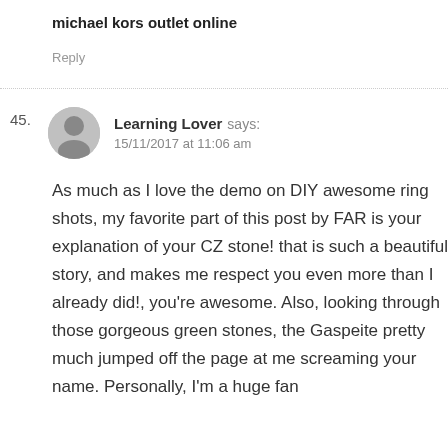michael kors outlet online
Reply
45. Learning Lover says: 15/11/2017 at 11:06 am
As much as I love the demo on DIY awesome ring shots, my favorite part of this post by FAR is your explanation of your CZ stone! that is such a beautiful story, and makes me respect you even more than I already did!, you're awesome. Also, looking through those gorgeous green stones, the Gaspeite pretty much jumped off the page at me screaming your name. Personally, I'm a huge fan